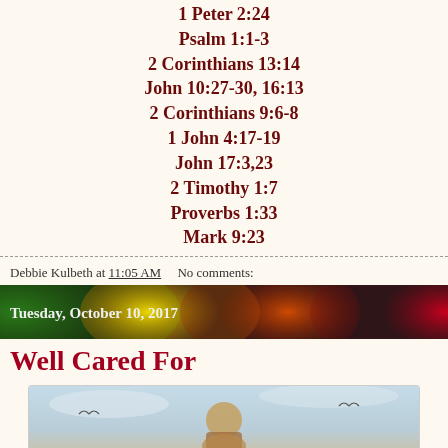1 Peter 2:24
Psalm 1:1-3
2 Corinthians 13:14
John 10:27-30, 16:13
2 Corinthians 9:6-8
1 John 4:17-19
John 17:3,23
2 Timothy 1:7
Proverbs 1:33
Mark 9:23
Debbie Kulbeth at 11:05 AM   No comments:
Tuesday, October 10, 2017
Well Cared For
[Figure (photo): A painting or image of Jesus Christ with birds or angels in a light sky background]